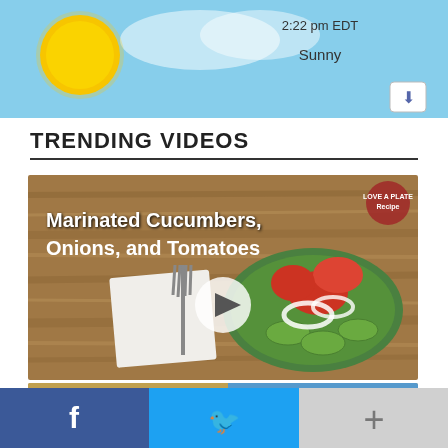[Figure (screenshot): Weather widget showing sunny sky with sun graphic, time 2:22 pm EDT, condition Sunny, with a download button]
TRENDING VIDEOS
[Figure (screenshot): Video thumbnail showing 'Marinated Cucumbers, Onions, and Tomatoes' recipe video with a plate of the dish and a play button overlay]
[Figure (screenshot): Advertisement banner showing food image with close (X) button]
[Figure (screenshot): Bottom social sharing bar with Facebook, Twitter, and more (+) buttons]